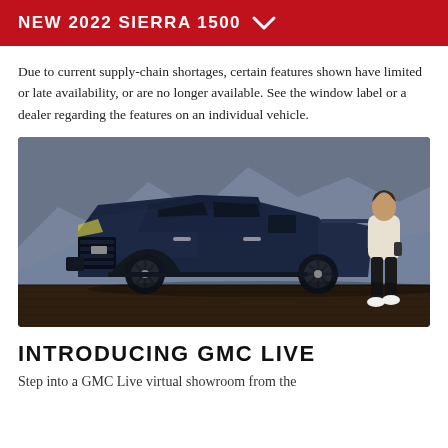NEW 2022 SIERRA 1500
Due to current supply-chain shortages, certain features shown have limited or late availability, or are no longer available. See the window label or a dealer regarding the features on an individual vehicle.
[Figure (photo): A dark navy blue GMC Sierra 1500 pickup truck displayed in a showroom-like studio setting with a mountain landscape backdrop. A man in a white jacket and black pants stands to the right of the truck holding a device.]
INTRODUCING GMC LIVE
Step into a GMC Live virtual showroom from the